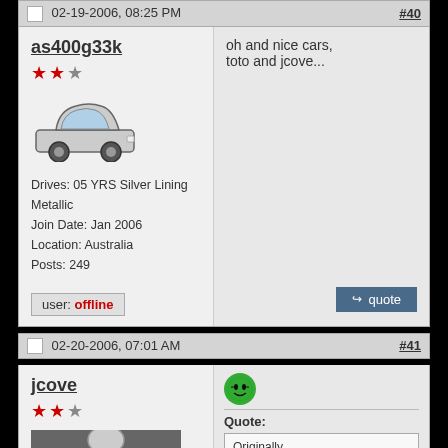02-19-2006, 08:25 PM #40
as400g33k
Drives: 05 YRS Silver Lining Metallic
Join Date: Jan 2006
Location: Australia
Posts: 249
user: offline
oh and nice cars, toto and jcove...
02-20-2006, 07:01 AM #41
jcove
Quote:
Originally Posted by swng
Cool Photos